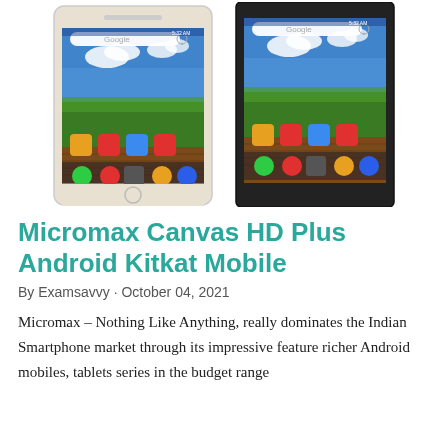[Figure (photo): Two Micromax Canvas HD Plus smartphones shown side by side displaying the Android home screen with Google search bar, nature wallpaper (sky and grass), and app icons at the bottom. Left phone has a white/gold bezel, right phone has a darker/black bezel.]
Micromax Canvas HD Plus Android Kitkat Mobile
By Examsavvy · October 04, 2021
Micromax – Nothing Like Anything, really dominates the Indian Smartphone market through its impressive feature richer Android mobiles, tablets series in the budget range